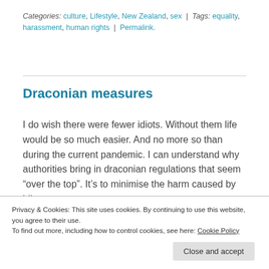Categories: culture, Lifestyle, New Zealand, sex | Tags: equality, harassment, human rights | Permalink.
Draconian measures
I do wish there were fewer idiots. Without them life would be so much easier. And no more so than during the current pandemic. I can understand why authorities bring in draconian regulations that seem “over the top”. It’s to minimise the harm caused by idiots.
Privacy & Cookies: This site uses cookies. By continuing to use this website, you agree to their use.
To find out more, including how to control cookies, see here: Cookie Policy